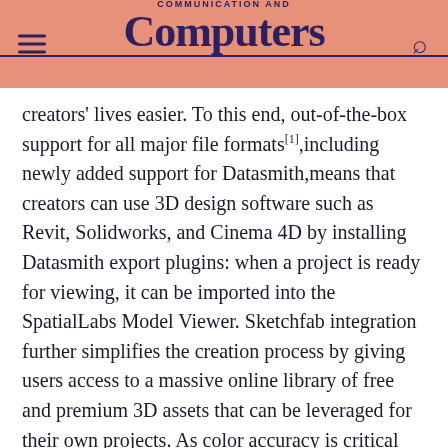COMMUNICATION AND Computers
creators' lives easier. To this end, out-of-the-box support for all major file formats[1],including newly added support for Datasmith,means that creators can use 3D design software such as Revit, Solidworks, and Cinema 4D by installing Datasmith export plugins: when a project is ready for viewing, it can be imported into the SpatialLabs Model Viewer. Sketchfab integration further simplifies the creation process by giving users access to a massive online library of free and premium 3D assets that can be leveraged for their own projects. As color accuracy is critical for design work, the View Pro's 15.6-inch 4K display covers 100% of the Adobe RGB color gamut.
Not just a tool for creating 3D assets, however, the SpatialLabs View Pro empowers developers with a variety of ways to showcase displays that